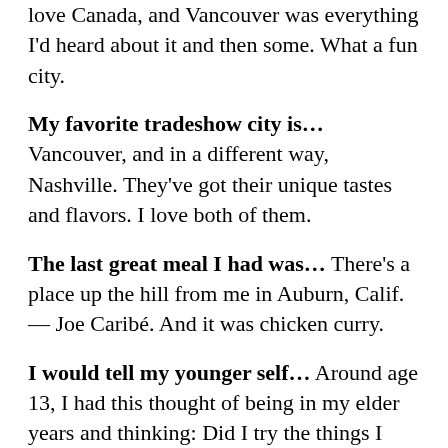love Canada, and Vancouver was everything I'd heard about it and then some. What a fun city.
My favorite tradeshow city is… Vancouver, and in a different way, Nashville. They've got their unique tastes and flavors. I love both of them.
The last great meal I had was… There's a place up the hill from me in Auburn, Calif. — Joe Caribé. And it was chicken curry.
I would tell my younger self… Around age 13, I had this thought of being in my elder years and thinking: Did I try the things I wanted to, even if they seemed scary or risky, or did I play it comfortable and safe and miss out? Because of that, I've been a professional skier and a Hollywood stuntman. Post injury, I've competed internationally in hang-gliding aerobatics, scuba dived across the world, won an Emmy award.